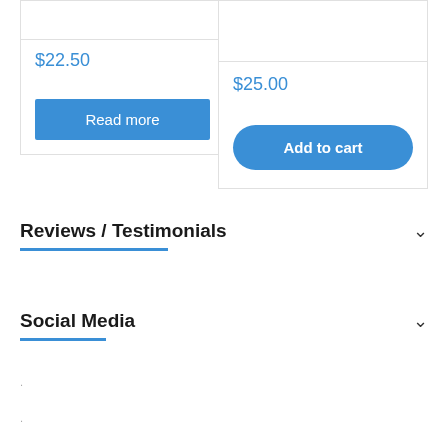$22.50
Read more
$25.00
Add to cart
Reviews / Testimonials
Social Media